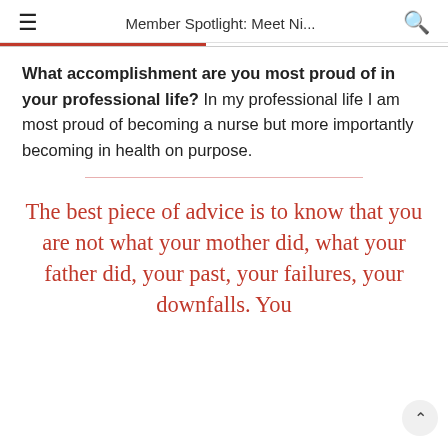Member Spotlight: Meet Ni...
What accomplishment are you most proud of in your professional life? In my professional life I am most proud of becoming a nurse but more importantly becoming in health on purpose.
The best piece of advice is to know that you are not what your mother did, what your father did, your past, your failures, your downfalls. You